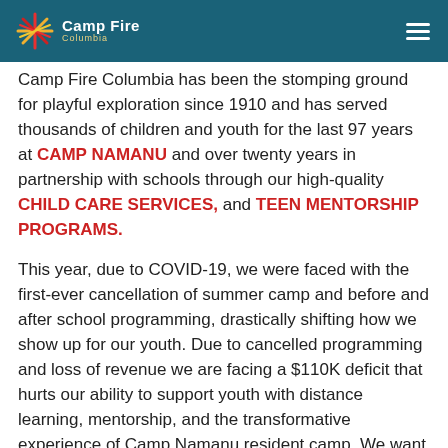Camp Fire Columbia
are to you and the youth we serve. Camp Fire Columbia has been the stomping ground for playful exploration since 1910 and has served thousands of children and youth for the last 97 years at CAMP NAMANU and over twenty years in partnership with schools through our high-quality CHILD CARE SERVICES, and TEEN MENTORSHIP PROGRAMS.
This year, due to COVID-19, we were faced with the first-ever cancellation of summer camp and before and after school programming, drastically shifting how we show up for our youth. Due to cancelled programming and loss of revenue we are facing a $110K deficit that hurts our ability to support youth with distance learning, mentorship, and the transformative experience of Camp Namanu resident camp. We want to keep the Camp Fire spark shining bright but we need your help.